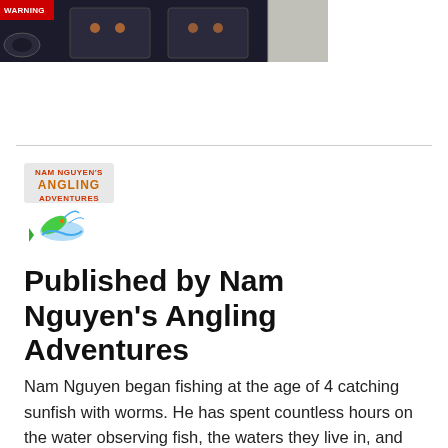[Figure (photo): Top portion of a dark surveillance camera warning sign with 'WARNING' text in red on white label, and dark-colored security camera housing visible against a light-colored wall/siding background]
[Figure (logo): Nam Nguyen's Angling Adventures logo featuring stylized text 'NAM NGUYEN'S ANGLING ADVENTURES' with a colorful fish jumping graphic]
Published by Nam Nguyen's Angling Adventures
Nam Nguyen began fishing at the age of 4 catching sunfish with worms. He has spent countless hours on the water observing fish, the waters they live in, and figuring out what it takes to catch them. He has fished numerous lakes, rivers and streams across Minnesota, Wisconsin and Canada. His favorite waters include Lake Kabetogama, Rowan Lake, Lake Vermilion, Lower Manitou Lake, and Eagle Lake. His recent interest in the